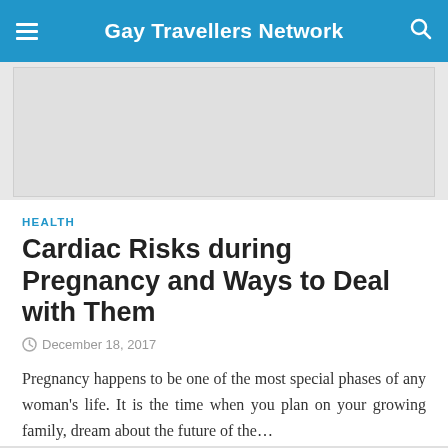Gay Travellers Network
[Figure (photo): Placeholder image area (light gray rectangle) above article content]
HEALTH
Cardiac Risks during Pregnancy and Ways to Deal with Them
December 18, 2017
Pregnancy happens to be one of the most special phases of any woman's life. It is the time when you plan on your growing family, dream about the future of the…